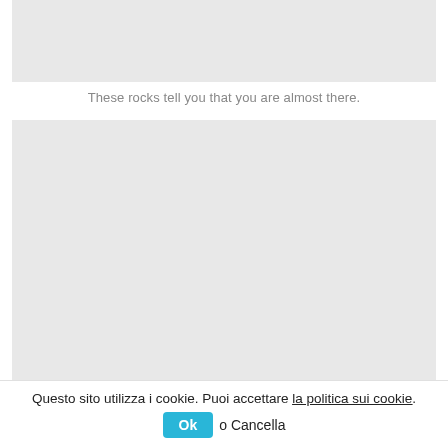[Figure (photo): Top image placeholder, light gray background, partially visible at top of page]
These rocks tell you that you are almost there.
[Figure (photo): Large image placeholder, light gray background, main image area]
Time to slide a bit down.
Questo sito utilizza i cookie. Puoi accettare la politica sui cookie. Ok o Cancella